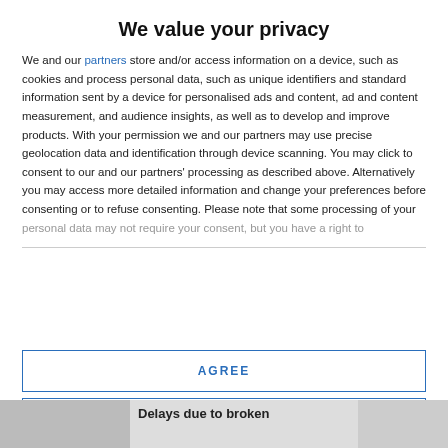We value your privacy
We and our partners store and/or access information on a device, such as cookies and process personal data, such as unique identifiers and standard information sent by a device for personalised ads and content, ad and content measurement, and audience insights, as well as to develop and improve products. With your permission we and our partners may use precise geolocation data and identification through device scanning. You may click to consent to our and our partners' processing as described above. Alternatively you may access more detailed information and change your preferences before consenting or to refuse consenting. Please note that some processing of your personal data may not require your consent, but you have a right to
AGREE
MORE OPTIONS
Delays due to broken